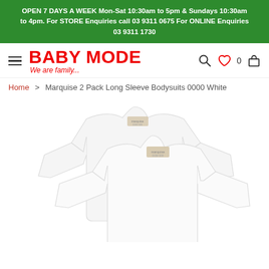OPEN 7 DAYS A WEEK Mon-Sat 10:30am to 5pm & Sundays 10:30am to 4pm. For STORE Enquiries call 03 9311 0675 For ONLINE Enquiries 03 9311 1730
[Figure (screenshot): Baby Mode logo with hamburger menu icon on left and search, wishlist (heart with 0), and shopping bag icons on right]
Home > Marquise 2 Pack Long Sleeve Bodysuits 0000 White
[Figure (photo): Two white long sleeve baby bodysuits overlapping, showing front view with crew neck and long sleeves, on white background]